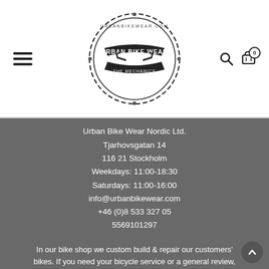[Figure (logo): Urban Bike Wear circular logo with chain border, wrench icons, and banner text reading URBAN BIKE WEAR]
Urban Bike Wear Nordic Ltd.
Tjarhovsgatan 14
116 21 Stockholm
Weekdays: 11:00-18:30
Saturdays: 11:00-16:00
info@urbanbikewear.com
+46 (0)8 533 327 05
5569101297
In our bike shop we custom build & repair our customers' bikes. If you need your bicycle service or a general review,